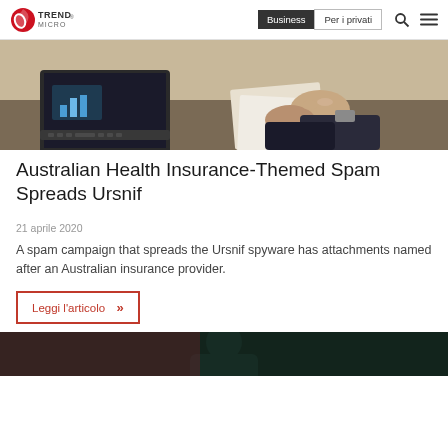Trend Micro — Business | Per i privati
[Figure (photo): Business people at a desk with a laptop and documents, shaking hands or exchanging papers]
Australian Health Insurance-Themed Spam Spreads Ursnif
21 aprile 2020
A spam campaign that spreads the Ursnif spyware has attachments named after an Australian insurance provider.
Leggi l'articolo »
[Figure (photo): Dark-toned image, partial view at bottom of page]